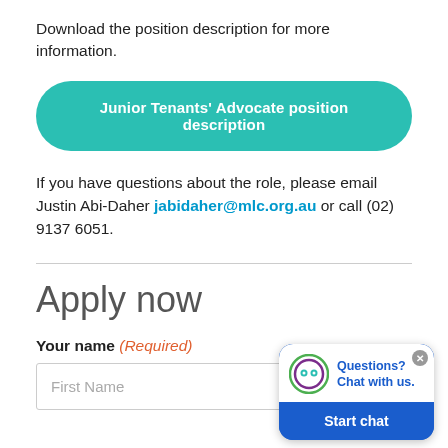Download the position description for more information.
[Figure (other): Teal rounded button labeled 'Junior Tenants' Advocate position description']
If you have questions about the role, please email Justin Abi-Daher jabidaher@mlc.org.au or call (02) 9137 6051.
Apply now
Your name (Required)
First Name
[Figure (other): Chat widget popup with robot avatar, text 'Questions? Chat with us.' and a 'Start chat' button on blue background]